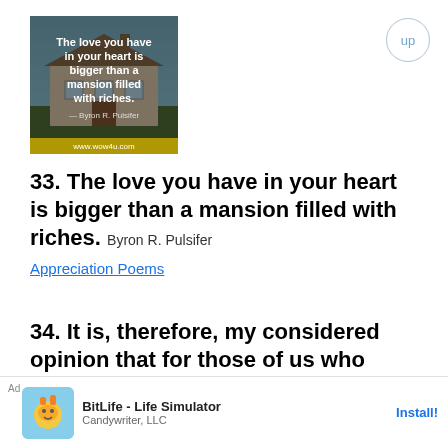[Figure (photo): Inspirational quote image over a mansion/house background with text: 'The love you have in your heart is bigger than a mansion filled with riches.' - Byron R. Pulsifer, www.wow4u.com]
33. The love you have in your heart is bigger than a mansion filled with riches. Byron R. Pulsifer
Appreciation Poems
34. It is, therefore, my considered opinion that for those of us who genuinely believe that we were destined for greatness, that we are the best versions of what God actually created, and that the only direction that we will always move is
Ad BitLife - Life Simulator Candywriter, LLC Install!